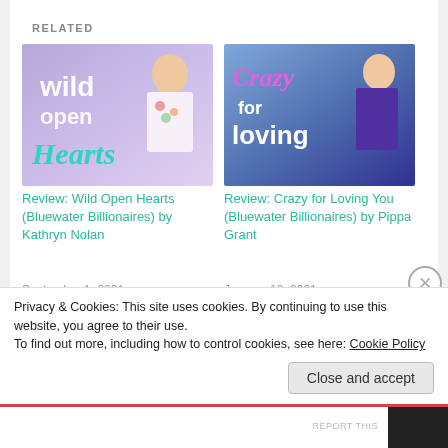RELATED
[Figure (illustration): Book cover for Wild Open Hearts (Bluewater Billionaires) by Kathryn Nolan — purple/lavender gradient with woman in white dress and neon-style cursive text]
Review: Wild Open Hearts (Bluewater Billionaires) by Kathryn Nolan
September 1, 2021
In "Book News"
[Figure (illustration): Book cover for Crazy for Loving You (Bluewater Billionaires) by Pippa Grant — blue/purple gradient with woman in purple dress and stylized cursive text]
Review: Crazy for Loving You (Bluewater Billionaires) by Pippa Grant
January 13, 2021
In "Book News"
[Figure (photo): Partial book cover visible at bottom — appears to show a phone or keyboard]
Privacy & Cookies: This site uses cookies. By continuing to use this website, you agree to their use.
To find out more, including how to control cookies, see here: Cookie Policy